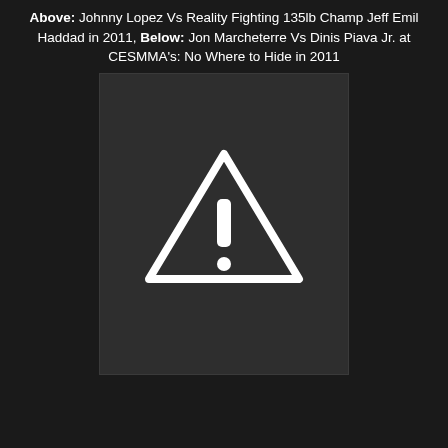Above: Johnny Lopez Vs Reality Fighting 135lb Champ Jeff Emil Haddad in 2011, Below: Jon Marcheterre Vs Dinis Piava Jr. at CESMMA's: No Where to Hide in 2011
[Figure (photo): Unavailable image placeholder with warning triangle and exclamation mark icon on dark background]